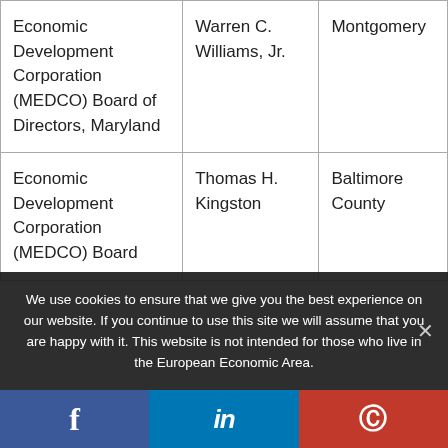| Economic Development Corporation (MEDCO) Board of Directors, Maryland | Warren C. Williams, Jr. | Montgomery |
| Economic Development Corporation (MEDCO) Board | Thomas H. Kingston | Baltimore County |
We use cookies to ensure that we give you the best experience on our website. If you continue to use this site we will assume that you are happy with it. This website is not intended for those who live in the European Economic Area.